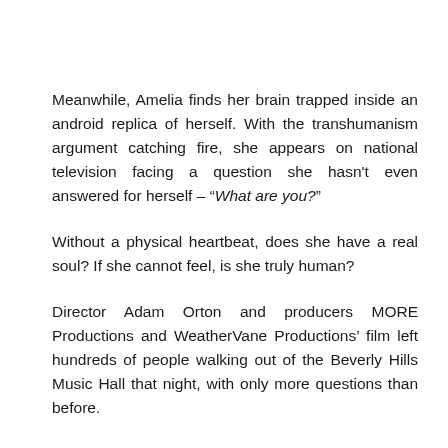Meanwhile, Amelia finds her brain trapped inside an android replica of herself. With the transhumanism argument catching fire, she appears on national television facing a question she hasn't even answered for herself – "What are you?"
Without a physical heartbeat, does she have a real soul? If she cannot feel, is she truly human?
Director Adam Orton and producers MORE Productions and WeatherVane Productions' film left hundreds of people walking out of the Beverly Hills Music Hall that night, with only more questions than before.